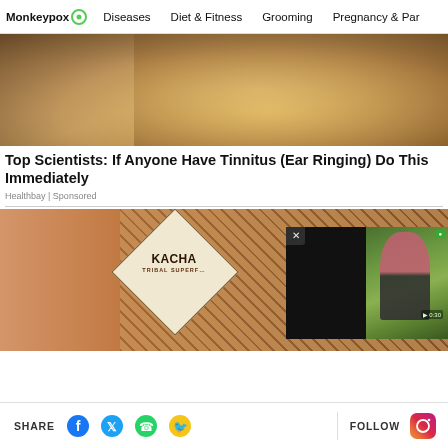Monkeypox | Diseases | Diet & Fitness | Grooming | Pregnancy & Par…
[Figure (photo): Close-up photo of a human ear with yellowish wax buildup]
Top Scientists: If Anyone Have Tinnitus (Ear Ringing) Do This Immediately
Healthbay | Sponsored
[Figure (photo): Advertisement image showing Kacha Tribal Superfoods product with a diamond-shaped logo, overlaid with a video popup showing a woman in pink doing yoga outdoors]
SHARE  FOLLOW